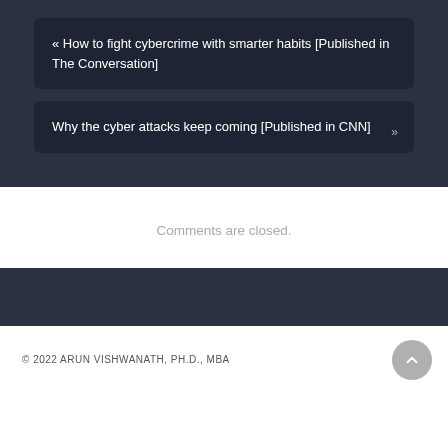« How to fight cybercrime with smarter habits [Published in The Conversation]
Why the cyber attacks keep coming [Published in CNN] »
Comments are closed.
© 2022 ARUN VISHWANATH, PH.D., MBA